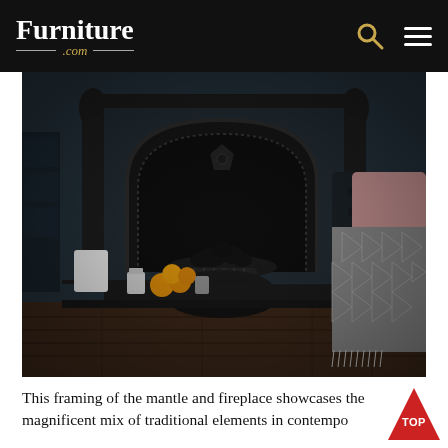Furniture .com
[Figure (photo): Dark moody interior with a black Victorian cast-iron fireplace with arched surround, coal grate, fruit and candles on black hearth table, patterned grey throw over armchair, wooden floor.]
This framing of the mantle and fireplace showcases the magnificent mix of traditional elements in contempo...